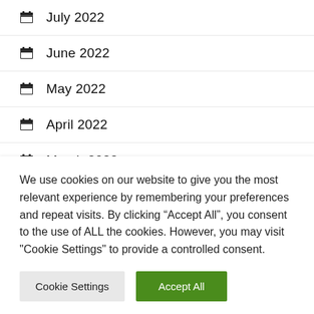July 2022
June 2022
May 2022
April 2022
March 2022
We use cookies on our website to give you the most relevant experience by remembering your preferences and repeat visits. By clicking “Accept All”, you consent to the use of ALL the cookies. However, you may visit "Cookie Settings" to provide a controlled consent.